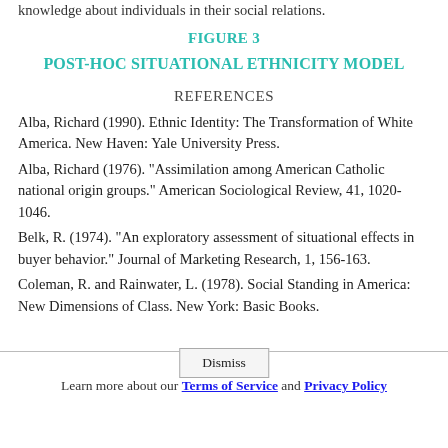knowledge about individuals in their social relations.
FIGURE 3
POST-HOC SITUATIONAL ETHNICITY MODEL
REFERENCES
Alba, Richard (1990). Ethnic Identity: The Transformation of White America. New Haven: Yale University Press.
Alba, Richard (1976). "Assimilation among American Catholic national origin groups." American Sociological Review, 41, 1020-1046.
Belk, R. (1974). "An exploratory assessment of situational effects in buyer behavior." Journal of Marketing Research, 1, 156-163.
Coleman, R. and Rainwater, L. (1978). Social Standing in America: New Dimensions of Class. New York: Basic Books.
Learn more about our Terms of Service and Privacy Policy  Dismiss